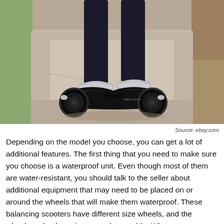[Figure (photo): A person standing on a black hoverboard (self-balancing scooter) on a concrete sidewalk. The person is wearing dark pants and grey sneakers. The hoverboard appears to be a Swagtron brand. The background shows grass and pavement.]
Source: ebay.com
Depending on the model you choose, you can get a lot of additional features. The first thing that you need to make sure you choose is a waterproof unit. Even though most of them are water-resistant, you should talk to the seller about additional equipment that may need to be placed on or around the wheels that will make them waterproof. These balancing scooters have different size wheels, and the wheels make the unit more or less stable. When you are choosing